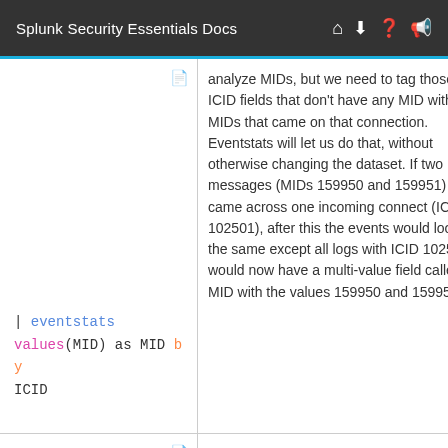Splunk Security Essentials Docs
| Command | Description |
| --- | --- |
| | eventstats values(MID) as MID by ICID | analyze MIDs, but we need to tag those ICID fields that don't have any MID with the MIDs that came on that connection. Eventstats will let us do that, without otherwise changing the dataset. If two messages (MIDs 159950 and 159951) came across one incoming connect (ICID 102501), after this the events would look the same except all logs with ICID 102501 would now have a multi-value field called MID with the values 159950 and 159951. |
| | stats | Now we can aggregate the |